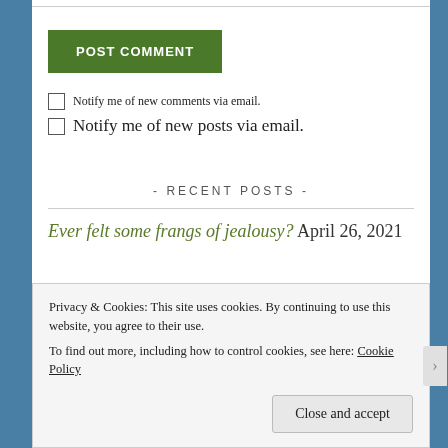POST COMMENT
Notify me of new comments via email.
Notify me of new posts via email.
- RECENT POSTS -
Ever felt some frangs of jealousy? April 26, 2021
Privacy & Cookies: This site uses cookies. By continuing to use this website, you agree to their use.
To find out more, including how to control cookies, see here: Cookie Policy
Close and accept